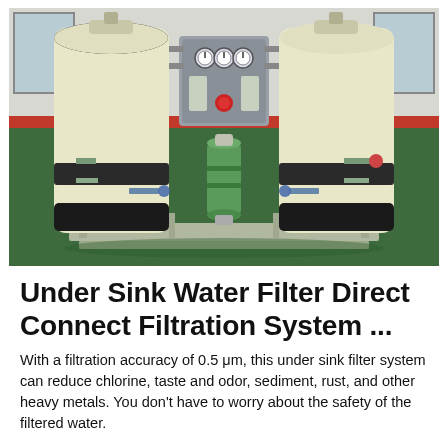[Figure (photo): Industrial water filtration system with two large cream/yellow cylindrical tanks on a metal frame, a central control panel with gauges, and a green cylindrical filter in the middle foreground. The system sits on a green epoxy floor inside a facility with white walls and a red base stripe.]
Under Sink Water Filter Direct Connect Filtration System ...
With a filtration accuracy of 0.5 μm, this under sink filter system can reduce chlorine, taste and odor, sediment, rust, and other heavy metals. You don't have to worry about the safety of the filtered water.